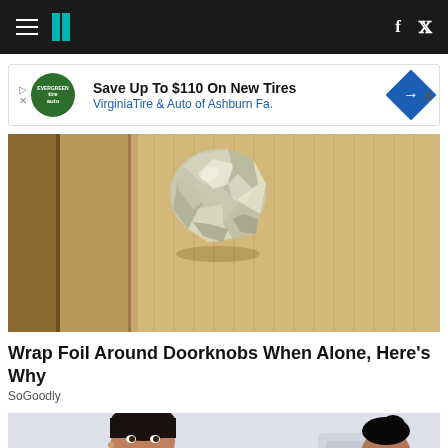HuffPost navigation bar with hamburger menu, logo, Facebook and Twitter icons
[Figure (other): Advertisement banner: Save Up To $110 On New Tires - Virginia Tire & Auto of Ashburn Fa.]
[Figure (photo): Close-up photo of a door knob wrapped in aluminum foil against a beige/tan door]
Wrap Foil Around Doorknobs When Alone, Here's Why
SoGoodly
[Figure (photo): Photo of a smiling woman in dark scrubs (medical professional), with another person visible in background]